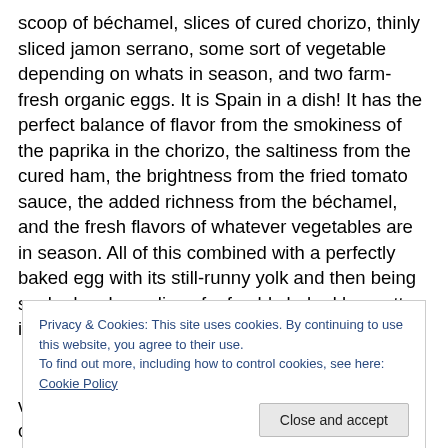scoop of béchamel, slices of cured chorizo, thinly sliced jamon serrano, some sort of vegetable depending on whats in season, and two farm-fresh organic eggs. It is Spain in a dish! It has the perfect balance of flavor from the smokiness of the paprika in the chorizo, the saltiness from the cured ham, the brightness from the fried tomato sauce, the added richness from the béchamel, and the fresh flavors of whatever vegetables are in season. All of this combined with a perfectly baked egg with its still-runny yolk and then being soaked up by a slice of a freshly baked baguette. its easy to see why it has all the rave for
Privacy & Cookies: This site uses cookies. By continuing to use this website, you agree to their use.
To find out more, including how to control cookies, see here: Cookie Policy
Close and accept
very easy to mess up. Within a minute, this dish can go